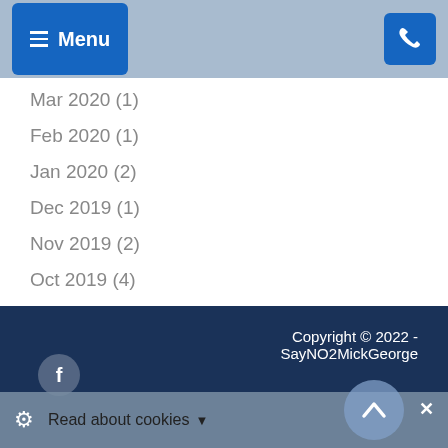Menu
Mar 2020 (1)
Feb 2020 (1)
Jan 2020 (2)
Dec 2019 (1)
Nov 2019 (2)
Oct 2019 (4)
Nov 2017 (1)
Sep 2017 (1)
Copyright © 2022 - SayNO2MickGeorge
Read about cookies